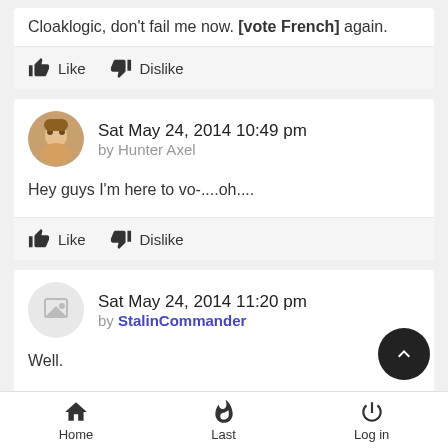Cloaklogic, don't fail me now. [vote French] again.
Like  Dislike
Sat May 24, 2014 10:49 pm
by Hunter Axel
Hey guys I'm here to vo-....oh....
Like  Dislike
Sat May 24, 2014 11:20 pm
by StalinCommander
Well.

I feel that Link is the mafia here.
Home  Last  Log in